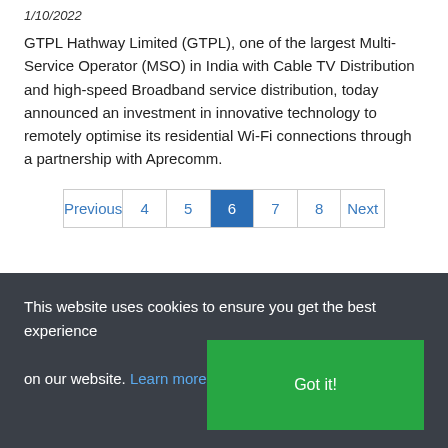1/10/2022
GTPL Hathway Limited (GTPL), one of the largest Multi-Service Operator (MSO) in India with Cable TV Distribution and high-speed Broadband service distribution, today announced an investment in innovative technology to remotely optimise its residential Wi-Fi connections through a partnership with Aprecomm.
Previous 4 5 6 7 8 Next
This website uses cookies to ensure you get the best experience on our website. Learn more
Got it!